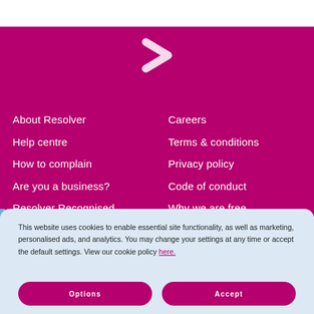[Figure (logo): Resolver chevron/arrow logo in white on magenta background]
About Resolver
Help centre
How to complain
Are you a business?
Resolver Recognised
Careers
Terms & conditions
Privacy policy
Code of conduct
Why we are free
This website uses cookies to enable essential site functionality, as well as marketing, personalised ads, and analytics. You may change your settings at any time or accept the default settings. View our cookie policy here.